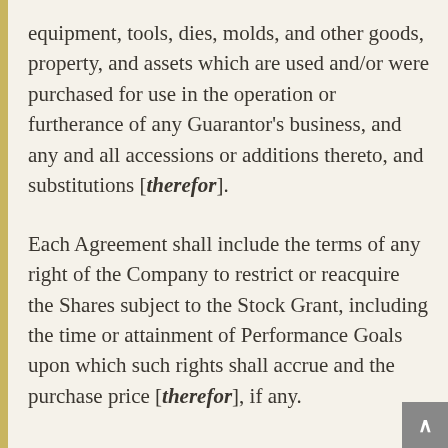equipment, tools, dies, molds, and other goods, property, and assets which are used and/or were purchased for use in the operation or furtherance of any Guarantor's business, and any and all accessions or additions thereto, and substitutions [therefor].
Each Agreement shall include the terms of any right of the Company to restrict or reacquire the Shares subject to the Stock Grant, including the time or attainment of Performance Goals upon which such rights shall accrue and the purchase price [therefor], if any.